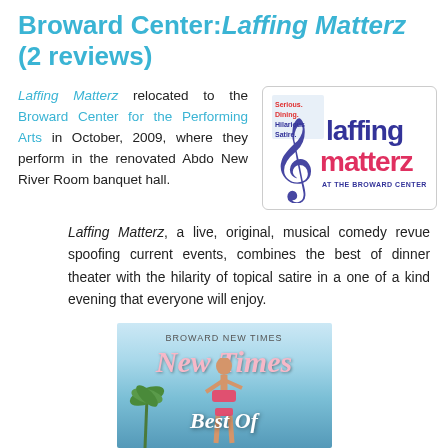Broward Center: Laffing Matterz (2 reviews)
Laffing Matterz relocated to the Broward Center for the Performing Arts in October, 2009, where they perform in the renovated Abdo New River Room banquet hall.
[Figure (logo): Laffing Matterz logo at the Broward Center — purple and red stylized text with a treble clef, tagline 'Serious Dining. Hilarious Satire.']
Laffing Matterz, a live, original, musical comedy revue spoofing current events, combines the best of dinner theater with the hilarity of topical satire in a one of a kind evening that everyone will enjoy.
[Figure (photo): Broward New Times magazine cover showing a woman in a red bikini with 'Best Of' text overlay]